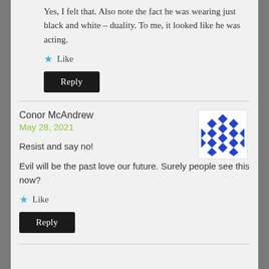Yes, I felt that. Also note the fact he was wearing just black and white – duality. To me, it looked like he was acting.
Like
Reply
Conor McAndrew
May 28, 2021
[Figure (illustration): Blue and white geometric/diamond pattern avatar image]
Resist and say no!
Evil will be the past love our future. Surely people see this now?
Like
Reply